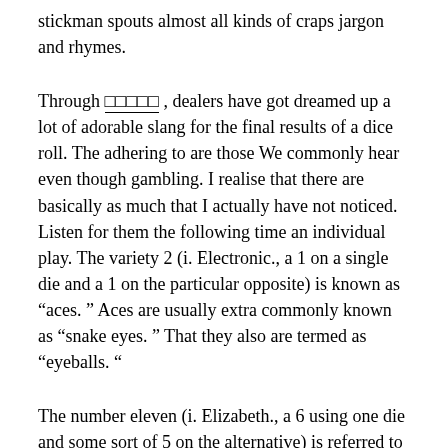stickman spouts almost all kinds of craps jargon and rhymes.
Through □□□□□ , dealers have got dreamed up a lot of adorable slang for the final results of a dice roll. The adhering to are those We commonly hear even though gambling. I realise that there are basically as much that I actually have not noticed. Listen for them the following time an individual play. The variety 2 (i. Electronic., a 1 on a single die and a 1 on the particular opposite) is known as “aces. ” Aces are usually extra commonly known as “snake eyes. ” That they also are termed as “eyeballs. “
The number eleven (i. Elizabeth., a 6 using one die and some sort of 5 on the alternative) is referred to as some sort of “yo, ” which is short for “yo-leven” (with emphasis on the “yo”). The particular stickman